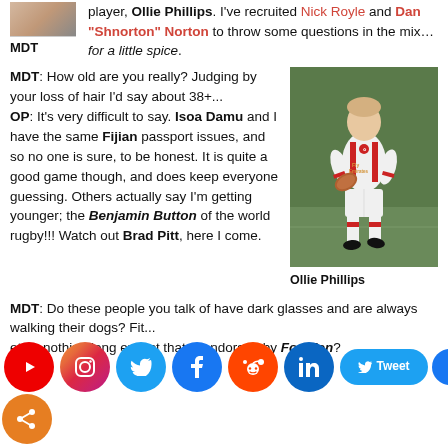player, Ollie Phillips. I've recruited Nick Royle and Dan "Shnorton" Norton to throw some questions in the mix… for a little spice.
[Figure (photo): Photo of MDT label with partial rugby player image at top left]
MDT: How old are you really? Judging by your loss of hair I'd say about 38+... OP: It's very difficult to say. Isoa Damu and I have the same Fijian passport issues, and so no one is sure, to be honest. It is quite a good game though, and does keep everyone guessing. Others actually say I'm getting younger; the Benjamin Button of the world rugby!!! Watch out Brad Pitt, here I come.
[Figure (photo): Photo of Ollie Phillips in England rugby kit running with ball, wearing white uniform with red accents and Fly Emirates sponsor]
Ollie Phillips
MDT: Do these people you talk of have dark glasses and are always walking their dogs? Fit... etc... nothing long extract that y... ndorsed by For Men?